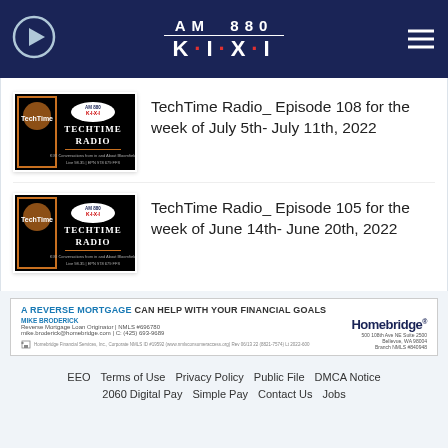AM 880 K·I·X·I
[Figure (screenshot): TechTime Radio episode thumbnail - black background with 'TECHTIME RADIO' text and KIXI logo]
TechTime Radio_ Episode 108 for the week of July 5th- July 11th, 2022
[Figure (screenshot): TechTime Radio episode thumbnail - black background with 'TECHTIME RADIO' text and KIXI logo]
TechTime Radio_ Episode 105 for the week of June 14th- June 20th, 2022
[Figure (infographic): Homebridge reverse mortgage advertisement banner]
EEO  Terms of Use  Privacy Policy  Public File  DMCA Notice  2060 Digital Pay  Simple Pay  Contact Us  Jobs